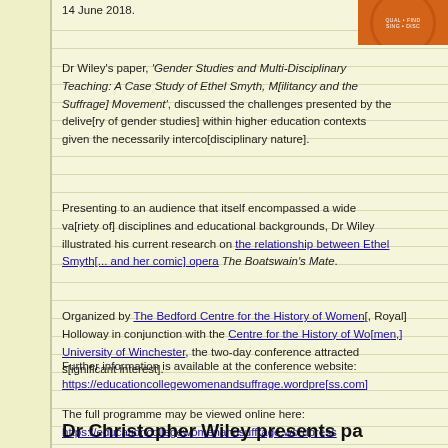14 June 2018.
[Figure (logo): Orange circular logo/badge on orange background]
Dr Wiley’s paper, ‘Gender Studies and Multi-Disciplinary Teaching: A Case Study of Ethel Smyth, M[ilitancy and the Suffrage] Movement’, discussed the challenges presented by the delivery [of gender studies] within higher education contexts given the necessarily interco[disciplinary nature].
Presenting to an audience that itself encompassed a wide va[riety of academic] disciplines and educational backgrounds, Dr Wiley illustrated [how he draws on] his current research on the relationship between Ethel Smyth [and her comic] opera The Boatswain’s Mate.
Organized by The Bedford Centre for the History of Women [at Royal] Holloway in conjunction with the Centre for the History of Wo[men at the] University of Winchester, the two-day conference attracted s[ignificant interest].
Further information is available at the conference website: https://educationcollegewomenandsuffrage.wordpre[ss.com]
The full programme may be viewed online here: https://educationcollegewomenandsuffrage.wordpress[.com/programme]
Dr Christopher Wiley presents pa[per]